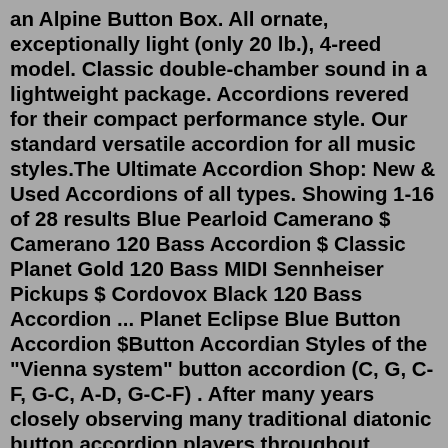an Alpine Button Box. All ornate, exceptionally light (only 20 lb.), 4-reed model. Classic double-chamber sound in a lightweight package. Accordions revered for their compact performance style. Our standard versatile accordion for all music styles.The Ultimate Accordion Shop: New & Used Accordions of all types. Showing 1-16 of 28 results Blue Pearloid Camerano $ Camerano 120 Bass Accordion $ Classic Planet Gold 120 Bass MIDI Sennheiser Pickups $ Cordovox Black 120 Bass Accordion ... Planet Eclipse Blue Button Accordion $Button Accordian Styles of the "Vienna system" button accordion (C, G, C-F, G-C, A-D, G-C-F) . After many years closely observing many traditional diatonic button accordion players throughout eastern Australia and parts of South Australia, with a particular emphasis on southern Queensland it was possible to reach some conclusions based on the instrument, playing style and geographic region ...Hohner Button... Add to Wishlist. Add to Cart . Categories. ACCORDIONS new! ACCORDIONS used! Micas; Bajo Cuarto; Bajo